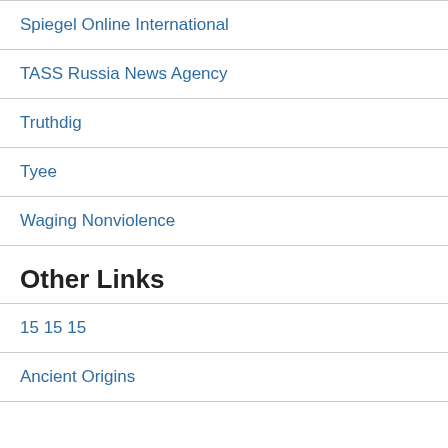Spiegel Online International
TASS Russia News Agency
Truthdig
Tyee
Waging Nonviolence
Other Links
15 15 15
Ancient Origins